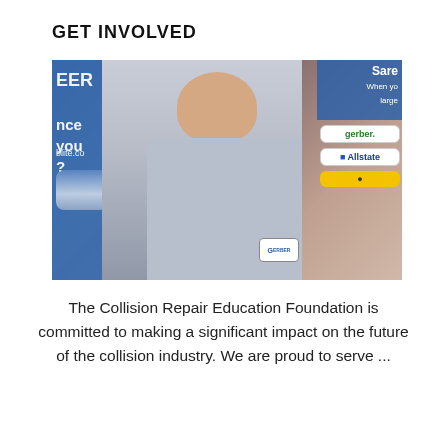GET INVOLVED
[Figure (photo): A young man in a light blue mechanic/technician uniform shirt with logo patches stands at what appears to be an industry event or career fair. Behind him are promotional banners and another person wearing branded stickers/badges including Gerber and Allstate logos.]
The Collision Repair Education Foundation is committed to making a significant impact on the future of the collision industry. We are proud to serve ...